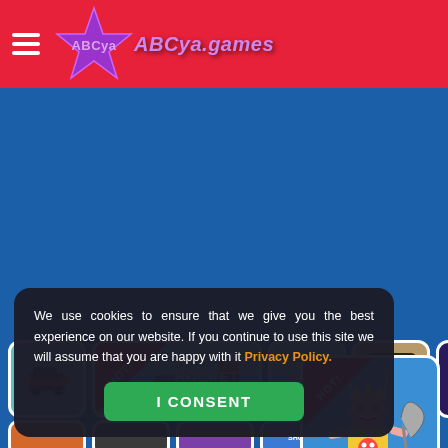[Figure (screenshot): ABCya.games website header with red background, hamburger menu icon, and purple star logo with ABCya.games text]
[Figure (screenshot): Blue banner advertisement area]
[Figure (screenshot): Game thumbnails row including: small car game (teal), Happy Rocket (HOT! badge, large), Tank Hero Online, ABC game, and a purple balls game]
We use cookies to ensure that we give you the best experience on our website. If you continue to use this site we will assume that you are happy with it Privacy Policy.
I CONSENT
[Figure (screenshot): Right side HOT! game thumbnail showing a villain character with crown and scythe on blue background]